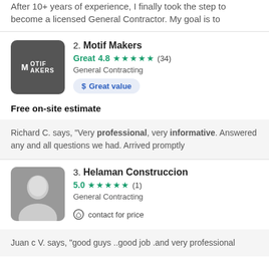After 10+ years of experience, I finally took the step to become a licensed General Contractor. My goal is to
2. Motif Makers
Great 4.8 ★★★★★ (34)
General Contracting
$ Great value
Free on-site estimate
Richard C. says, "Very professional, very informative. Answered any and all questions we had. Arrived promptly
3. Helaman Construccion
5.0 ★★★★★ (1)
General Contracting
contact for price
Juan c V. says, "good guys ..good job .and very professional